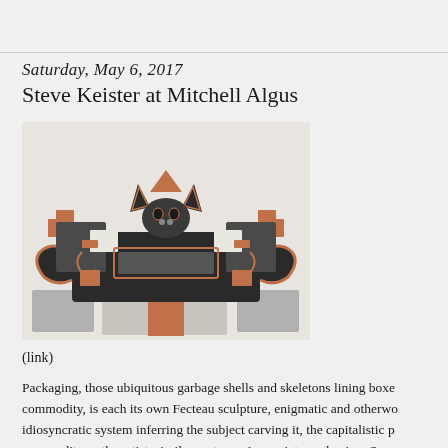Saturday, May 6, 2017
Steve Keister at Mitchell Algus
[Figure (photo): A sculptural assemblage resembling a bat figure made from molded plastic packaging components in terracotta, dark grey/black, white, and silver-grey colors, arranged symmetrically on a light background.]
(link)
Packaging, those ubiquitous garbage shells and skeletons lining boxes of commodity, is each its own Fecteau sculpture, enigmatic and otherworldly idiosyncratic system inferring the subject carving it, the capitalistic purpose commodity or the artist, similar systems. Appreciate packaging. So co